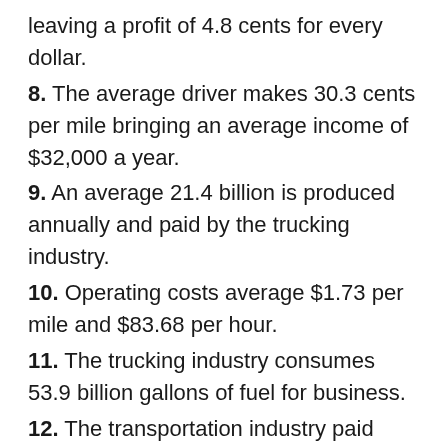leaving a profit of 4.8 cents for every dollar.
8. The average driver makes 30.3 cents per mile bringing an average income of $32,000 a year.
9. An average 21.4 billion is produced annually and paid by the trucking industry.
10. Operating costs average $1.73 per mile and $83.68 per hour.
11. The trucking industry consumes 53.9 billion gallons of fuel for business.
12. The transportation industry paid $37.4 billion in federal and state highway taxes.
Trucking Industry Job Growth
A feature from CNN of the trucking industry